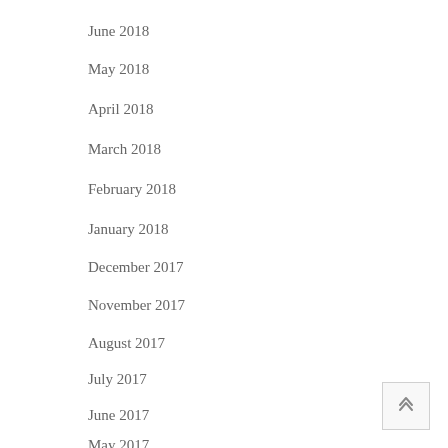June 2018
May 2018
April 2018
March 2018
February 2018
January 2018
December 2017
November 2017
August 2017
July 2017
June 2017
May 2017